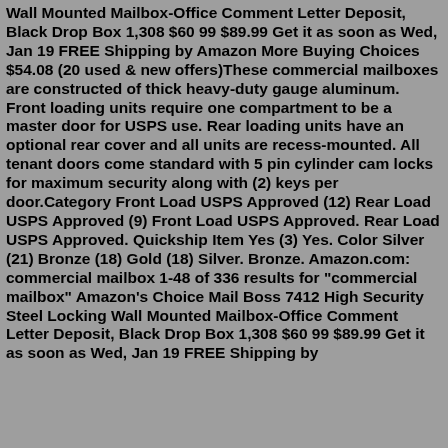Wall Mounted Mailbox-Office Comment Letter Deposit, Black Drop Box 1,308 $60 99 $89.99 Get it as soon as Wed, Jan 19 FREE Shipping by Amazon More Buying Choices $54.08 (20 used & new offers)These commercial mailboxes are constructed of thick heavy-duty gauge aluminum. Front loading units require one compartment to be a master door for USPS use. Rear loading units have an optional rear cover and all units are recess-mounted. All tenant doors come standard with 5 pin cylinder cam locks for maximum security along with (2) keys per door.Category Front Load USPS Approved (12) Rear Load USPS Approved (9) Front Load USPS Approved. Rear Load USPS Approved. Quickship Item Yes (3) Yes. Color Silver (21) Bronze (18) Gold (18) Silver. Bronze. Amazon.com: commercial mailbox 1-48 of 336 results for "commercial mailbox" Amazon's Choice Mail Boss 7412 High Security Steel Locking Wall Mounted Mailbox-Office Comment Letter Deposit, Black Drop Box 1,308 $60 99 $89.99 Get it as soon as Wed, Jan 19 FREE Shipping by